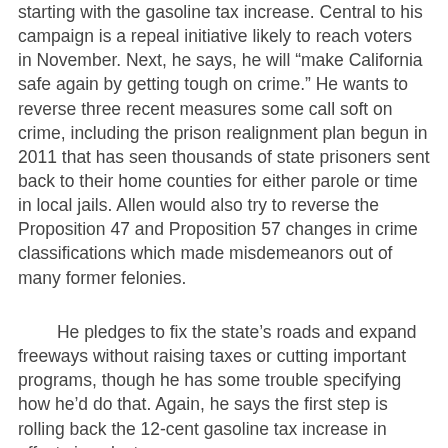starting with the gasoline tax increase. Central to his campaign is a repeal initiative likely to reach voters in November. Next, he says, he will “make California safe again by getting tough on crime.” He wants to reverse three recent measures some call soft on crime, including the prison realignment plan begun in 2011 that has seen thousands of state prisoners sent back to their home counties for either parole or time in local jails. Allen would also try to reverse the Proposition 47 and Proposition 57 changes in crime classifications which made misdemeanors out of many former felonies.
He pledges to fix the state’s roads and expand freeways without raising taxes or cutting important programs, though he has some trouble specifying how he’d do that. Again, he says the first step is rolling back the 12-cent gasoline tax increase in effect since last year.